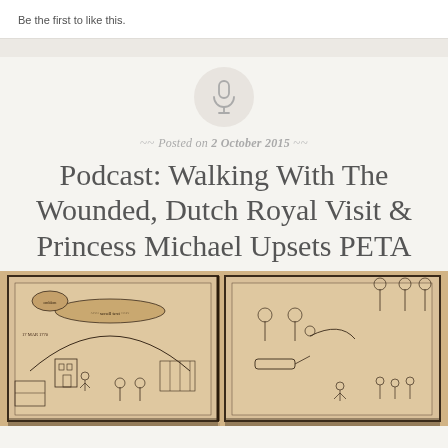Be the first to like this.
[Figure (illustration): Microphone icon inside a circular gray button]
Posted on 2 October 2015
Podcast: Walking With The Wounded, Dutch Royal Visit & Princess Michael Upsets PETA
[Figure (illustration): Antique manuscript or illustrated book spread showing hand-drawn scenes with figures, trees, and text in an aged brown/tan style]